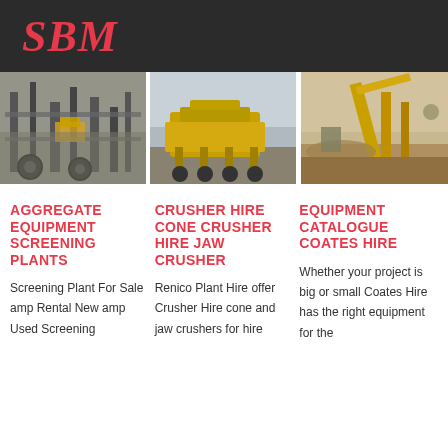SBM
[Figure (photo): Industrial screening plant machinery with scaffolding and large wheels]
[Figure (photo): Yellow heavy equipment / crusher on an open site with overcast sky]
[Figure (photo): Construction/quarry site with yellow conveyor and earthworks]
AGGREGATE EQUIPMENT SCREENING PLANTS
CRUSHER HIRE CONE CRUSHER HIRE JAW CRUSHER
EQUIPMENT CATALOGUE COATES HIRE
Screening Plant For Sale amp Rental New amp Used Screening
Renico Plant Hire offer Crusher Hire cone and jaw crushers for hire
Whether your project is big or small Coates Hire has the right equipment for the